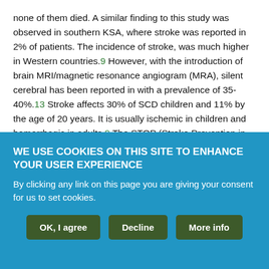none of them died. A similar finding to this study was observed in southern KSA, where stroke was reported in 2% of patients. The incidence of stroke, was much higher in Western countries.9 However, with the introduction of brain MRI/magnetic resonance angiogram (MRA), silent cerebral has been reported in with a prevalence of 35-40%.13 Stroke affects 30% of SCD children and 11% by the age of 20 years. It is usually ischemic in children and hemorrhagic in adults.9 The STOP (Stroke Prevention in SCA) study showed that annual routine screening can minimize the rate of stroke from 10% to 1% in SCD children.14
Statistical analyses of the reported data according to sex and age
WE USE COOKIES ON THIS SITE TO ENHANCE YOUR USER EXPERIENCE
By clicking any link on this page you are giving your consent for us to set cookies.